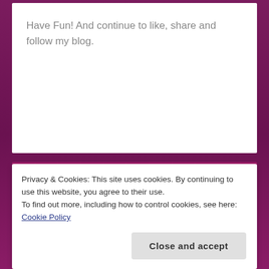Have Fun! And continue to like, share and follow my blog.
[Figure (other): Pink/purple background section with decorative grid pattern and large open quotation marks symbol in lighter pink]
Hi Everyone! I hope you all are fine
Privacy & Cookies: This site uses cookies. By continuing to use this website, you agree to their use.
To find out more, including how to control cookies, see here: Cookie Policy
Close and accept